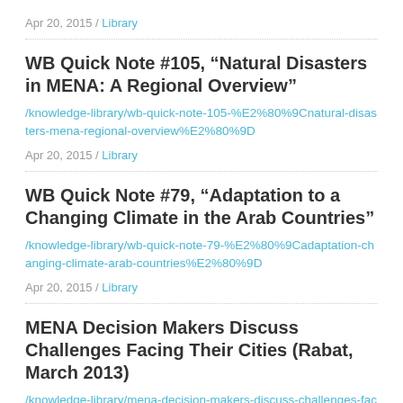Apr 20, 2015 / Library
WB Quick Note #105, “Natural Disasters in MENA: A Regional Overview”
/knowledge-library/wb-quick-note-105-%E2%80%9Cnatural-disasters-mena-regional-overview%E2%80%9D
Apr 20, 2015 / Library
WB Quick Note #79, “Adaptation to a Changing Climate in the Arab Countries”
/knowledge-library/wb-quick-note-79-%E2%80%9Cadaptation-changing-climate-arab-countries%E2%80%9D
Apr 20, 2015 / Library
MENA Decision Makers Discuss Challenges Facing Their Cities (Rabat, March 2013)
/knowledge-library/mena-decision-makers-discuss-challenges-facing-their-cities-rabat-march-2013